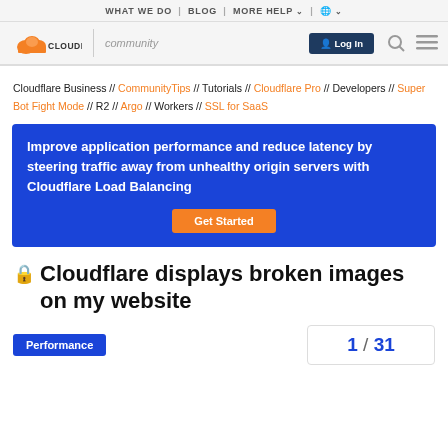WHAT WE DO | BLOG | MORE HELP | (globe)
[Figure (logo): Cloudflare community logo with orange cloud, CLOUDFLARE text, vertical divider, community text, Log In button, search icon, menu icon]
Cloudflare Business // CommunityTips // Tutorials // Cloudflare Pro // Developers // Super Bot Fight Mode // R2 // Argo // Workers // SSL for SaaS
[Figure (infographic): Blue banner: Improve application performance and reduce latency by steering traffic away from unhealthy origin servers with Cloudflare Load Balancing. Orange Get Started button.]
🔒 Cloudflare displays broken images on my website
Performance   1 / 31